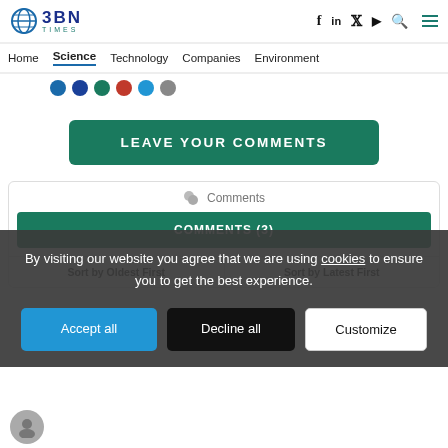BBN Times
Home   Science   Technology   Companies   Environment
LEAVE YOUR COMMENTS
Comments
COMMENTS (3)
Sort by Oldest First   Sort by Latest First
By visiting our website you agree that we are using cookies to ensure you to get the best experience.
Accept all   Decline all   Customize